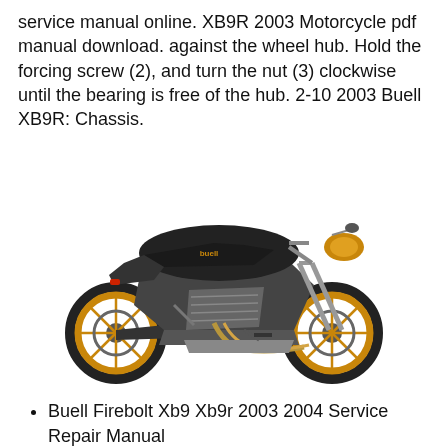service manual online. XB9R 2003 Motorcycle pdf manual download. against the wheel hub. Hold the forcing screw (2), and turn the nut (3) clockwise until the bearing is free of the hub. 2-10 2003 Buell XB9R: Chassis.
[Figure (photo): Side profile photo of a 2003 Buell XB9R Firebolt motorcycle with black bodywork and gold/orange wheels on a white background.]
Buell Firebolt Xb9 Xb9r 2003 2004 Service Repair Manual